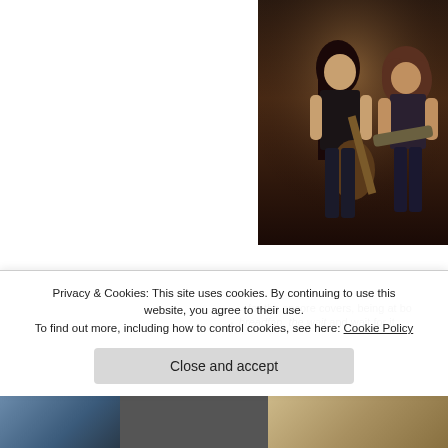[Figure (photo): Concert photo showing two musicians on stage, one with long dark hair playing bass guitar, against a dark background]
for the encore covers, being at bo
breadfan, the wait and wait for it...
Privacy & Cookies: This site uses cookies. By continuing to use this website, you agree to their use. To find out more, including how to control cookies, see here: Cookie Policy
Close and accept
[Figure (photo): Bottom strip showing two partial photos]